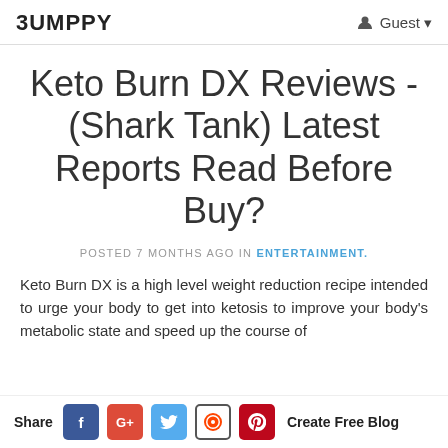BUMPPY | Guest
Keto Burn DX Reviews - (Shark Tank) Latest Reports Read Before Buy?
POSTED 7 MONTHS AGO IN ENTERTAINMENT.
Keto Burn DX is a high level weight reduction recipe intended to urge your body to get into ketosis to improve your body's metabolic state and speed up the course of
Share | Facebook | Google+ | Twitter | Reddit | Pinterest | Create Free Blog